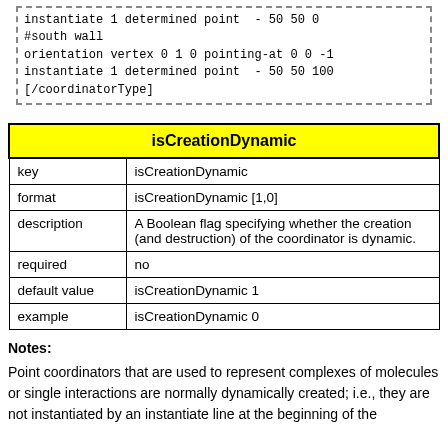instantiate 1 determined point  - 50 50 0
#south wall
orientation vertex 0 1 0 pointing-at 0 0 -1
instantiate 1 determined point  - 50 50 100
[/coordinatorType]
| isCreationDynamic |
| --- |
| key | isCreationDynamic |
| format | isCreationDynamic [1,0] |
| description | A Boolean flag specifying whether the creation (and destruction) of the coordinator is dynamic. |
| required | no |
| default value | isCreationDynamic 1 |
| example | isCreationDynamic 0 |
Notes:
Point coordinators that are used to represent complexes of molecules or single interactions are normally dynamically created; i.e., they are not instantiated by an instantiate line at the beginning of the